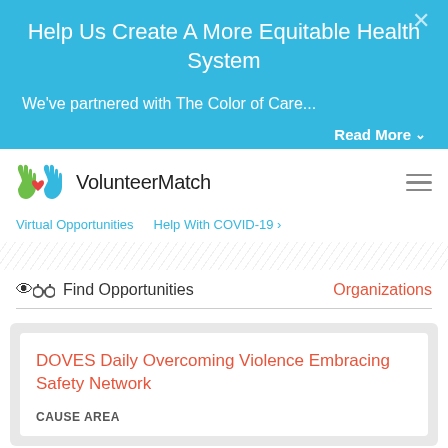Help Us Create A More Equitable Health System
We've partnered with The Color of Care...
Read More
[Figure (logo): VolunteerMatch logo with green and blue hands and red heart]
VolunteerMatch
Virtual Opportunities    Help With COVID-19 ›
🔭 Find Opportunities    Organizations
DOVES Daily Overcoming Violence Embracing Safety Network
Cause Area